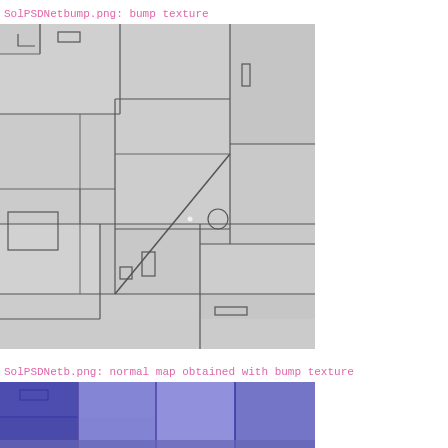SolPSDNetbump.png: bump texture
[Figure (illustration): Grayscale bump texture map showing sci-fi floor panel layout with rectangular panel sections, diagonal lines, access hatches with small rectangles, circular elements, and dark seam lines between panels on a light gray concrete-like surface.]
SolPSDNetb.png: normal map obtained with bump texture
[Figure (illustration): Partial view of normal map (blue-purple colored) derived from the bump texture, showing the same panel layout rendered in typical normal map colors (blue/purple/pink hues) representing surface normals.]